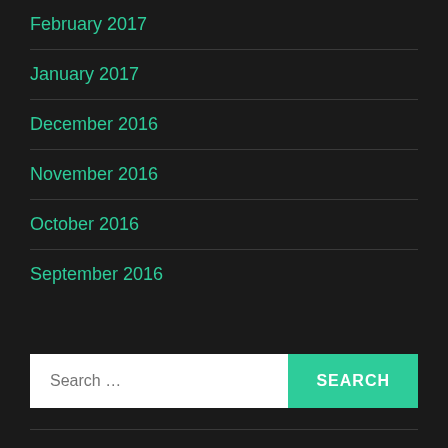February 2017
January 2017
December 2016
November 2016
October 2016
September 2016
Search ...